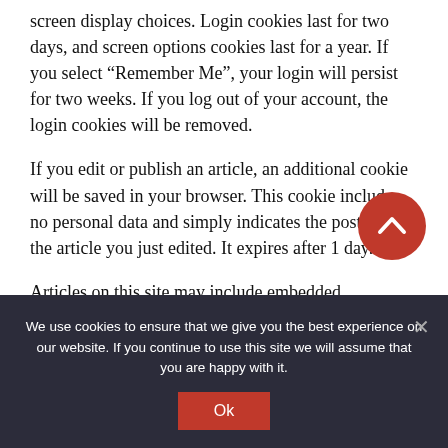screen display choices. Login cookies last for two days, and screen options cookies last for a year. If you select “Remember Me”, your login will persist for two weeks. If you log out of your account, the login cookies will be removed.
If you edit or publish an article, an additional cookie will be saved in your browser. This cookie includes no personal data and simply indicates the post ID of the article you just edited. It expires after 1 day.
Articles on this site may include embedded
[Figure (other): Red circular scroll-to-top button with upward chevron arrow]
We use cookies to ensure that we give you the best experience on our website. If you continue to use this site we will assume that you are happy with it.